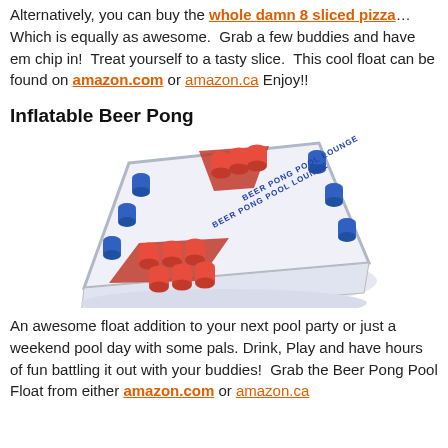Alternatively, you can buy the whole damn 8 sliced pizza…Which is equally as awesome.  Grab a few buddies and have em chip in!  Treat yourself to a tasty slice.  This cool float can be found on amazon.com or amazon.ca Enjoy!!
Inflatable Beer Pong
[Figure (photo): Inflatable Beer Pong pool float/lounge with red solo cups and blue cups arranged on a white inflatable rectangular float, viewed from a slight angle above.]
An awesome float addition to your next pool party or just a weekend pool day with some pals. Drink, Play and have hours of fun battling it out with your buddies!  Grab the Beer Pong Pool Float from either amazon.com or amazon.ca